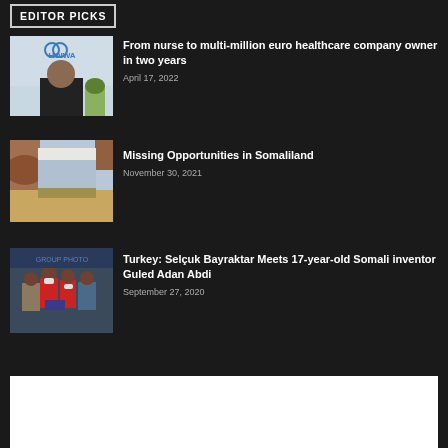EDITOR PICKS
[Figure (photo): Woman in black jacket with HOIWA logo in background]
From nurse to multi-million euro healthcare company owner in two years
April 17, 2022
[Figure (photo): Desert landscape viewed through rocky arch]
Missing Opportunities in Somaliland
November 30, 2021
[Figure (photo): Group of people in masks, some in red jackets]
Turkey: Selçuk Bayraktar Meets 17-year-old Somali inventor Guled Adan Abdi
September 27, 2020